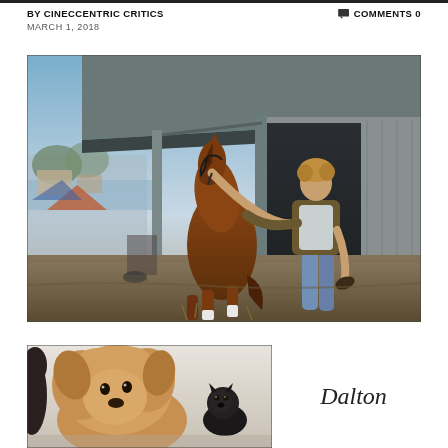BY CINECCENTRIC CRITICS   COMMENTS 0
MARCH 1, 2018
[Figure (photo): A young man leading a brown horse out of a barn/stable at dusk, with a rural landscape visible in the background on the left side.]
[Figure (photo): Close-up of two small dogs (one golden/fluffy in foreground, one dark in background) against a light background.]
Dalton